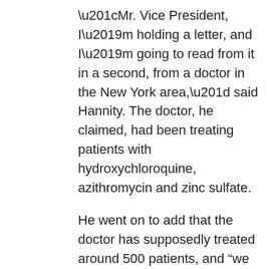“Mr. Vice President, I’m holding a letter, and I’m going to read from it in a second, from a doctor in the New York area,” said Hannity. The doctor, he claimed, had been treating patients with hydroxychloroquine, azithromycin and zinc sulfate.
He went on to add that the doctor has supposedly treated around 500 patients, and “we have had zero deaths, zero hospitalizations, zero intubations.”
It is entirely possible that a sample of 500 people would recover well from coronavirus by random chance. Conversely, there is no clinical